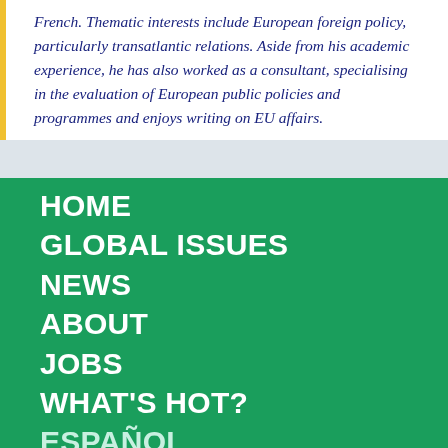French. Thematic interests include European foreign policy, particularly transatlantic relations. Aside from his academic experience, he has also worked as a consultant, specialising in the evaluation of European public policies and programmes and enjoys writing on EU affairs.
HOME
GLOBAL ISSUES
NEWS
ABOUT
JOBS
WHAT'S HOT?
ESPAÑOL